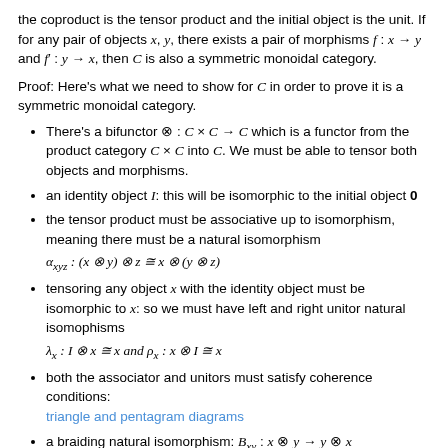the coproduct is the tensor product and the initial object is the unit. If for any pair of objects x, y, there exists a pair of morphisms f : x → y and f' : y → x, then C is also a symmetric monoidal category.
Proof: Here's what we need to show for C in order to prove it is a symmetric monoidal category.
There's a bifunctor ⊗ : C × C → C which is a functor from the product category C × C into C. We must be able to tensor both objects and morphisms.
an identity object I: this will be isomorphic to the initial object 0
the tensor product must be associative up to isomorphism, meaning there must be a natural isomorphism α_xyz : (x ⊗ y) ⊗ z ≅ x ⊗ (y ⊗ z)
tensoring any object x with the identity object must be isomorphic to x: so we must have left and right unitor natural isomophisms λ_x : I ⊗ x ≅ x and ρ_x : x ⊗ I ≅ x
both the associator and unitors must satisfy coherence conditions: triangle and pentagram diagrams
a braiding natural isomorphism: B_xy : x ⊗ y → y ⊗ x
braiding and the associator obey the hexagon identities and we require B_yx B_xy = 1_{x⊗y}
We are given that C has all binary coproducts (as John points out, if you